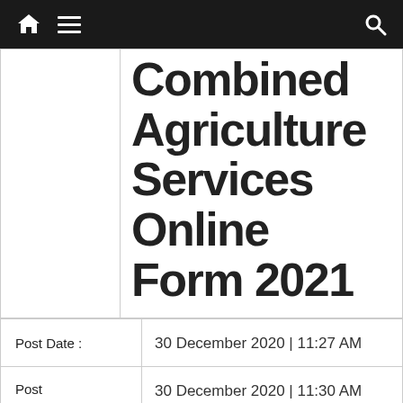Navigation bar with home, menu, and search icons
Combined Agriculture Services Online Form 2021
|  |  |
| --- | --- |
| Post Date : | 30 December 2020 | 11:27 AM |
| Post Update Date : | 30 December 2020 | 11:30 AM |